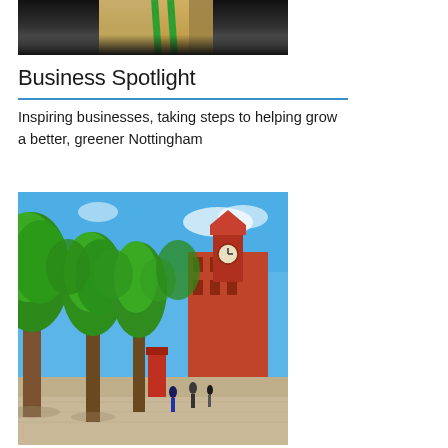[Figure (photo): Partial photo of a person with blonde hair wearing a green lanyard, cropped at the top of the page]
Business Spotlight
Inspiring businesses, taking steps to helping grow a better, greener Nottingham
[Figure (photo): Street scene in Nottingham with green trees lining a pedestrian area, red brick clock tower building visible in background, people walking]